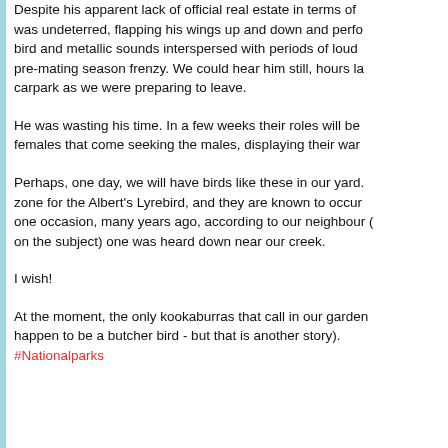Despite his apparent lack of official real estate in terms of... was undeterred, flapping his wings up and down and perfo... bird and metallic sounds interspersed with periods of loud... pre-mating season frenzy. We could hear him still, hours la... carpark as we were preparing to leave.
He was wasting his time. In a few weeks their roles will be... females that come seeking the males, displaying their war...
Perhaps, one day, we will have birds like these in our yard. ...zone for the Albert's Lyrebird, and they are known to occur... one occasion, many years ago, according to our neighbour (... on the subject) one was heard down near our creek.
I wish!
At the moment, the only kookaburras that call in our garden... happen to be a butcher bird - but that is another story). #Nationalparks